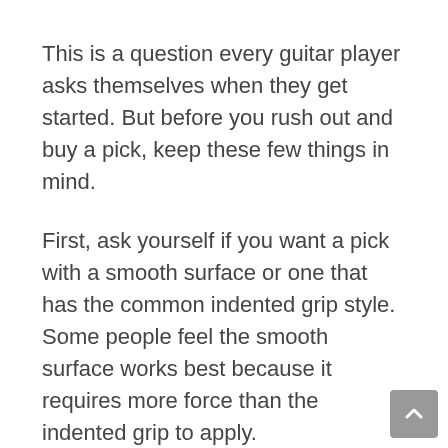This is a question every guitar player asks themselves when they get started. But before you rush out and buy a pick, keep these few things in mind.
First, ask yourself if you want a pick with a smooth surface or one that has the common indented grip style. Some people feel the smooth surface works best because it requires more force than the indented grip to apply.
Second, consider your body chemistry as well as the instrument you use. While we admit it takes a lot of testing to determine this, some people are pH-sensitive and tend to break out when they use a pick with a